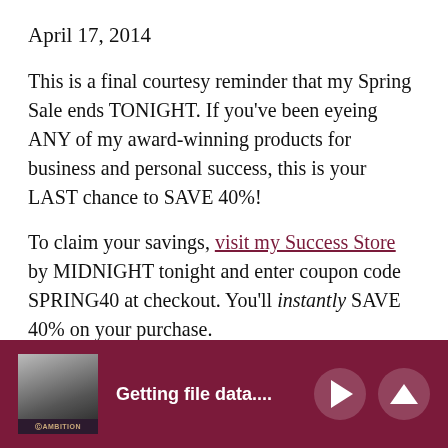April 17, 2014
This is a final courtesy reminder that my Spring Sale ends TONIGHT. If you've been eyeing ANY of my award-winning products for business and personal success, this is your LAST chance to SAVE 40%!
To claim your savings, visit my Success Store by MIDNIGHT tonight and enter coupon code SPRING40 at checkout. You'll instantly SAVE 40% on your purchase.
Getting file data....